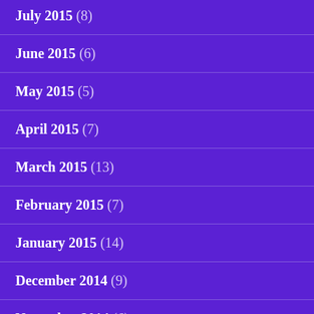July 2015 (8)
June 2015 (6)
May 2015 (5)
April 2015 (7)
March 2015 (13)
February 2015 (7)
January 2015 (14)
December 2014 (9)
November 2014 (6)